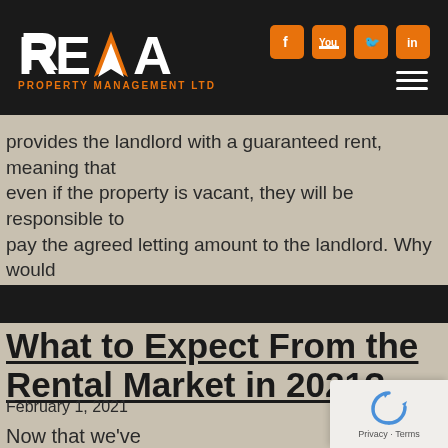RETA PROPERTY MANAGEMENT LTD
provides the landlord with a guaranteed rent, meaning that even if the property is vacant, they will be responsible to pay the agreed letting amount to the landlord. Why would [...]
What to Expect From the Rental Market in 2021?
February 1, 2021
Now that we've